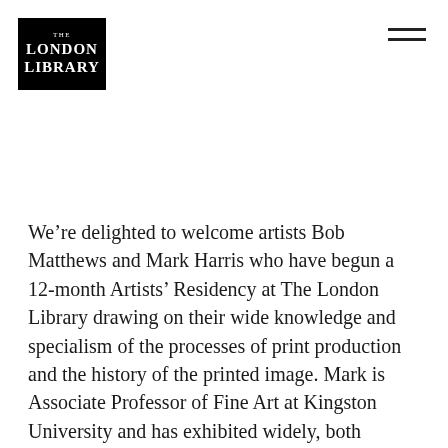[Figure (logo): The London Library logo — white text on black square background]
We’re delighted to welcome artists Bob Matthews and Mark Harris who have begun a 12-month Artists’ Residency at The London Library drawing on their wide knowledge and specialism of the processes of print production and the history of the printed image. Mark is Associate Professor of Fine Art at Kingston University and has exhibited widely, both nationally and internationally; Bob, an artist and exhibition organizer, has taught on the MA print course at the Royal College